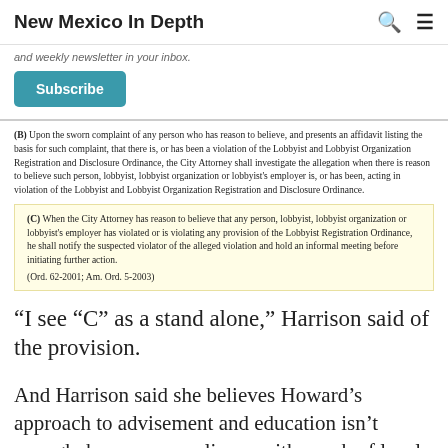New Mexico In Depth
and weekly newsletter in your inbox.
Subscribe
(B)  Upon the sworn complaint of any person who has reason to believe, and presents an affidavit listing the basis for such complaint, that there is, or has been a violation of the Lobbyist and Lobbyist Organization Registration and Disclosure Ordinance, the City Attorney shall investigate the allegation when there is reason to believe such person, lobbyist, lobbyist organization or lobbyist's employer is, or has been, acting in violation of the Lobbyist and Lobbyist Organization Registration and Disclosure Ordinance.
(C)  When the City Attorney has reason to believe that any person, lobbyist, lobbyist organization or lobbyist's employer has violated or is violating any provision of the Lobbyist Registration Ordinance, he shall notify the suspected violator of the alleged violation and hold an informal meeting before initiating further action.
(Ord. 62-2001; Am. Ord. 5-2003)
“I see “C” as a stand alone,” Harrison said of the provision.
And Harrison said she believes Howard’s approach to advisement and education isn’t enough, because compliance with a web of local, state and federal